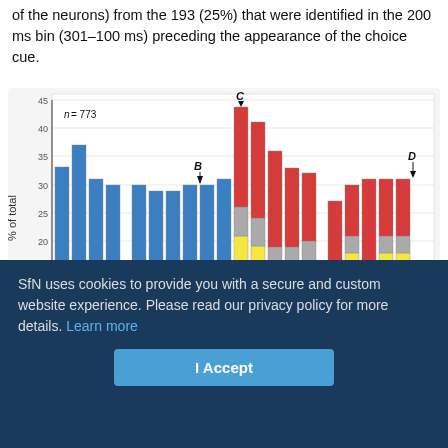of the neurons) from the 193 (25%) that were identified in the 200 ms bin (301–100 ms) preceding the appearance of the choice cue.
[Figure (stacked-bar-chart): Stacked bar chart showing % of total neurons across time bins. Bars colored blue (base), yellow, grey, and red segments. Annotations A, B, C, D mark specific points. n=773. Y-axis from 5 to 45.]
SfN uses cookies to provide you with a secure and custom website experience. Please read our privacy policy for more details. Learn more
I Accept